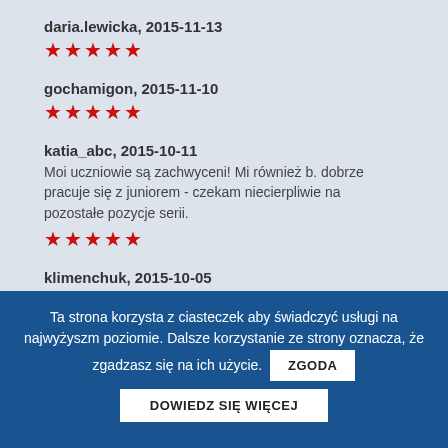daria.lewicka, 2015-11-13 ★★★★★
gochamigon, 2015-11-10 ★★★★★
katia_abc, 2015-10-11
Moi uczniowie są zachwyceni! Mi również b. dobrze pracuje się z juniorem - czekam niecierpliwie na pozostałe pozycje serii. ★★★★★
klimenchuk, 2015-10-05 ★★★★★
moniigle, 2015-10-01
Ta strona korzysta z ciasteczek aby świadczyć usługi na najwyżyszm poziomie. Dalsze korzystanie ze strony oznacza, że zgadzasz się na ich użycie. ZGODA
DOWIEDZ SIĘ WIĘCEJ